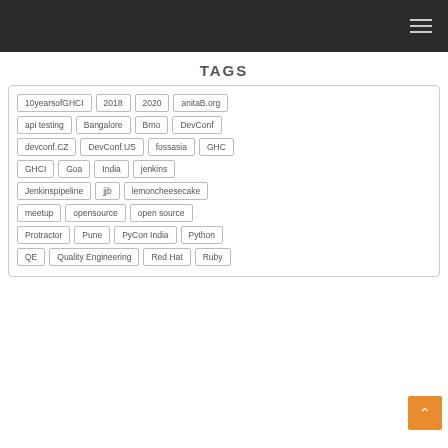TAGS
10yearsofGHCI
2018
2020
anitaB.org
api testing
Bangalore
Brno
DevConf
devconf.CZ
DevConf.US
fossasia
GHC
GHCI
Goa
India
jenkins
Jenkinspipeline
jjb
lemoncheesecake
meetup
opensource
open source
Protractor
Pune
PyCon India
Python
QE
Quality Engineering
Red Hat
Ruby